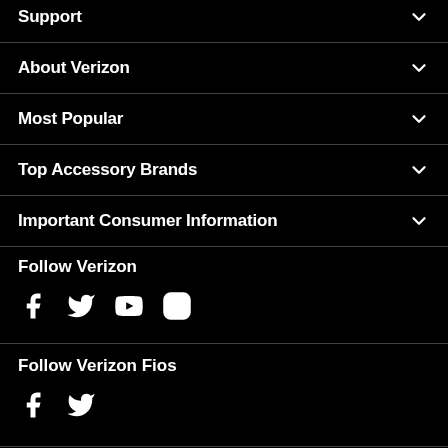Support
About Verizon
Most Popular
Top Accessory Brands
Important Consumer Information
Follow Verizon
[Figure (infographic): Social media icons for Verizon: Facebook, Twitter, YouTube, Instagram]
Follow Verizon Fios
[Figure (infographic): Social media icons for Verizon Fios: Facebook, Twitter]